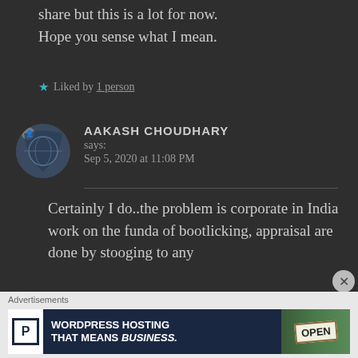share but this is a lot for now. Hope you sense what I mean.
★ Liked by 1 person
AAKASH CHOUDHARY says: Sep 5, 2020 at 11:08 PM
Certainly I do..the problem is corporate in India work on the funda of bootlicking, appraisal are done by stooging to any
Advertisements
[Figure (screenshot): Advertisement banner for WordPress Hosting with P logo, text 'WORDPRESS HOSTING THAT MEANS BUSINESS.' and an image of an OPEN sign]